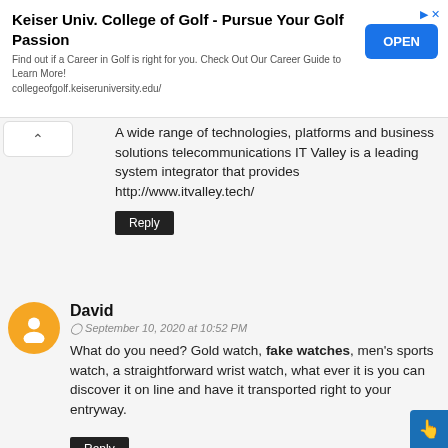[Figure (other): Advertisement banner for Keiser University College of Golf with an OPEN button]
A wide range of technologies, platforms and business solutions telecommunications IT Valley is a leading system integrator that provides http://www.itvalley.tech/
Reply
David
September 10, 2020 at 10:52 PM
What do you need? Gold watch, fake watches, men's sports watch, a straightforward wrist watch, what ever it is you can discover it on line and have it transported right to your entryway.
Reply
Pakistani Fashion
September 15, 2020 at 8:27 AM